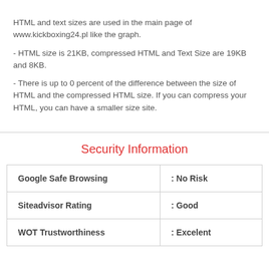HTML and text sizes are used in the main page of www.kickboxing24.pl like the graph.
- HTML size is 21KB, compressed HTML and Text Size are 19KB and 8KB.
- There is up to 0 percent of the difference between the size of HTML and the compressed HTML size. If you can compress your HTML, you can have a smaller size site.
Security Information
|  |  |
| --- | --- |
| Google Safe Browsing | : No Risk |
| Siteadvisor Rating | : Good |
| WOT Trustworthiness | : Excelent |